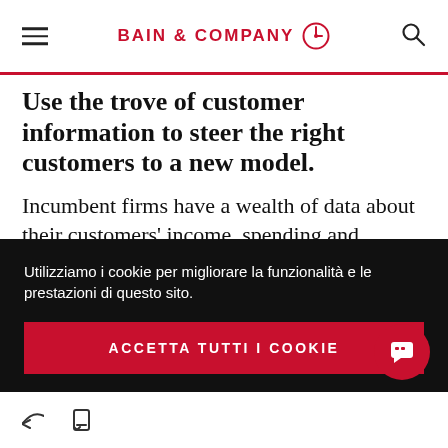BAIN & COMPANY
Use the trove of customer information to steer the right customers to a new model.
Incumbent firms have a wealth of data about their customers' income, spending and savings, as well as customer feedback on what annoys or delights them about their banking experience. They need to develop capabilities to mine that
Utilizziamo i cookie per migliorare la funzionalità e le prestazioni di questo sito.
ACCETTA TUTTI I COOKIE